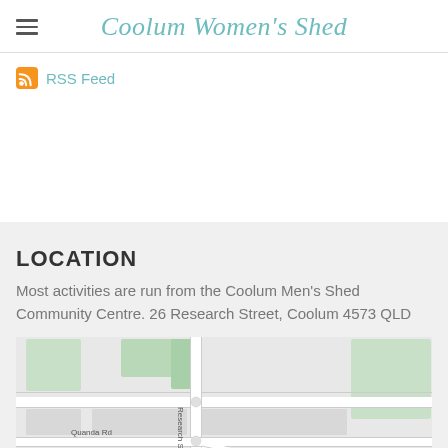Coolum Women's Shed
RSS Feed
LOCATION
Most activities are run from the Coolum Men's Shed Community Centre. 26 Research Street, Coolum 4573 QLD
[Figure (map): Street map showing Research Street and Quanda Rd intersection near Coolum, QLD]